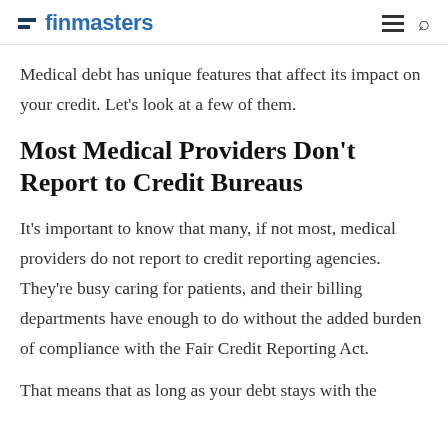finmasters
Medical debt has unique features that affect its impact on your credit. Let’s look at a few of them.
Most Medical Providers Don’t Report to Credit Bureaus
It’s important to know that many, if not most, medical providers do not report to credit reporting agencies. They’re busy caring for patients, and their billing departments have enough to do without the added burden of compliance with the Fair Credit Reporting Act.
That means that as long as your debt stays with the